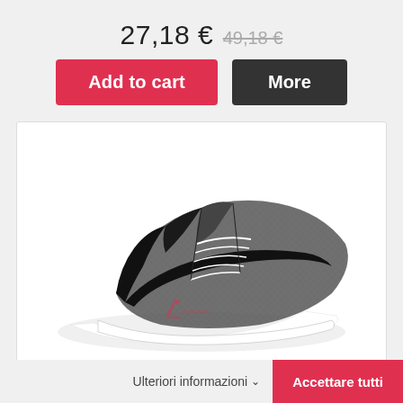27,18 € 49,18 €
Add to cart | More
[Figure (photo): Puma dark grey and black athletic running sneaker shoe, side view on white background with a small watermarked logo of a high-heel shoe and text 'calzedique']
Ulteriori informazioni ∨  Accettare tutti